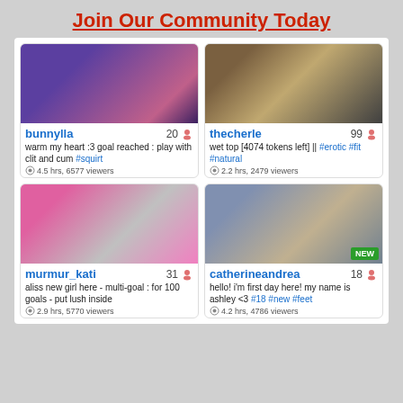Join Our Community Today
[Figure (photo): Thumbnail of bunnylla streamer]
bunnylla  20
warm my heart :3 goal reached : play with clit and cum #squirt
4.5 hrs, 6577 viewers
[Figure (photo): Thumbnail of thecherle streamer]
thecherle  99
wet top [4074 tokens left] || #erotic #fit #natural
2.2 hrs, 2479 viewers
[Figure (photo): Thumbnail of murmur_kati streamer]
murmur_kati  31
aliss new girl here - multi-goal : for 100 goals - put lush inside
2.9 hrs, 5770 viewers
[Figure (photo): Thumbnail of catherineandrea streamer, NEW badge]
catherineandrea  18
hello! i'm first day here! my name is ashley <3 #18 #new #feet
4.2 hrs, 4786 viewers